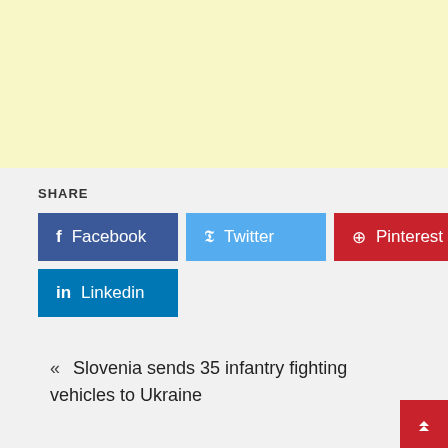[Figure (other): Yellow/cream colored advertisement banner block]
SHARE
Facebook
Twitter
Pinterest
Linkedin
« Slovenia sends 35 infantry fighting vehicles to Ukraine